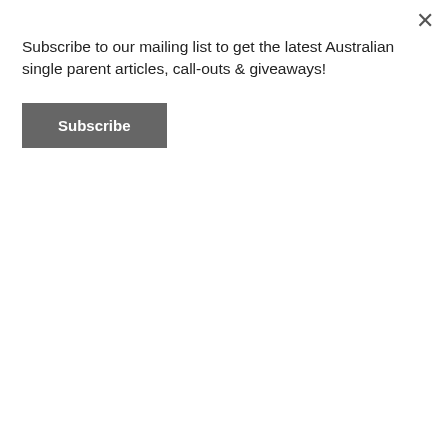Subscribe to our mailing list to get the latest Australian single parent articles, call-outs & giveaways!
Subscribe
een lost over the years.
Are single mums made to feel less in Australia? Musings of a salty Aussie single mum
July 12, 2022
[Figure (photo): Black and white vintage photo of a woman in long dress near a bicycle and street lamp]
Where can ill single mums get help? Got COVID? Note down these free support services
May 1, 2022
[Figure (photo): Photo of a woman and child hugging under a blanket]
Top 5 best books for single mums –